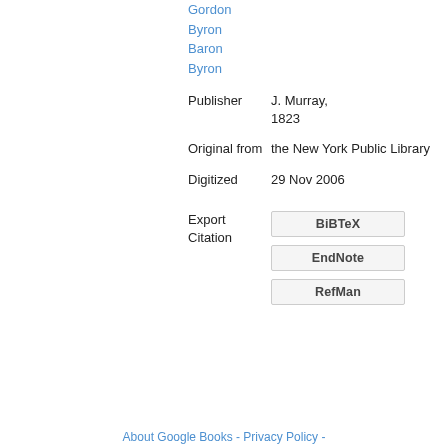Gordon Byron Baron Byron
Publisher
J. Murray, 1823
Original from
the New York Public Library
Digitized
29 Nov 2006
Export Citation
BiBTeX
EndNote
RefMan
About Google Books - Privacy Policy -